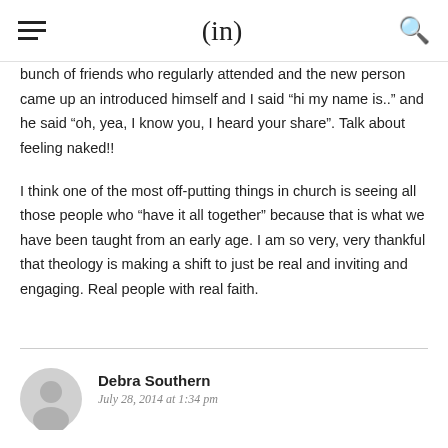(in)
bunch of friends who regularly attended and the new person came up an introduced himself and I said “hi my name is..” and he said “oh, yea, I know you, I heard your share”. Talk about feeling naked!!
I think one of the most off-putting things in church is seeing all those people who “have it all together” because that is what we have been taught from an early age. I am so very, very thankful that theology is making a shift to just be real and inviting and engaging. Real people with real faith.
[Figure (other): User avatar placeholder - grey circular icon with person silhouette]
Debra Southern
July 28, 2014 at 1:34 pm